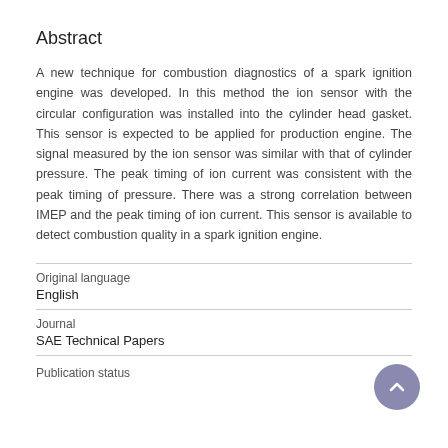Abstract
A new technique for combustion diagnostics of a spark ignition engine was developed. In this method the ion sensor with the circular configuration was installed into the cylinder head gasket. This sensor is expected to be applied for production engine. The signal measured by the ion sensor was similar with that of cylinder pressure. The peak timing of ion current was consistent with the peak timing of pressure. There was a strong correlation between IMEP and the peak timing of ion current. This sensor is available to detect combustion quality in a spark ignition engine.
| Original language |  |
| English |  |
| Journal |  |
| SAE Technical Papers |  |
| Publication status |  |